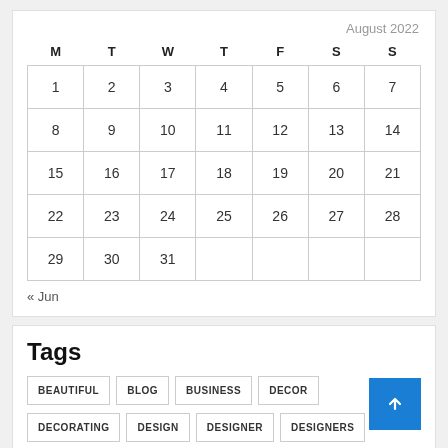| M | T | W | T | F | S | S |
| --- | --- | --- | --- | --- | --- | --- |
| 1 | 2 | 3 | 4 | 5 | 6 | 7 |
| 8 | 9 | 10 | 11 | 12 | 13 | 14 |
| 15 | 16 | 17 | 18 | 19 | 20 | 21 |
| 22 | 23 | 24 | 25 | 26 | 27 | 28 |
| 29 | 30 | 31 |  |  |  |  |
« Jun
Tags
BEAUTIFUL  BLOG  BUSINESS  DECOR
DECORATING  DESIGN  DESIGNER  DESIGNERS